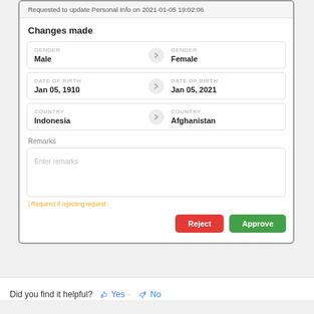Requested to update Personal Info on 2021-01-05 19:02:06
Changes made
| Field |  | Field |
| --- | --- | --- |
| GENDER
Male | > | GENDER
Female |
| DATE OF BIRTH
Jan 05, 1910 | > | DATE OF BIRTH
Jan 05, 2021 |
| COUNTRY
Indonesia | > | COUNTRY
Afghanistan |
Remarks
Enter remarks
Required if rejecting request
Reject
Approve
Did you find it helpful? Yes · No